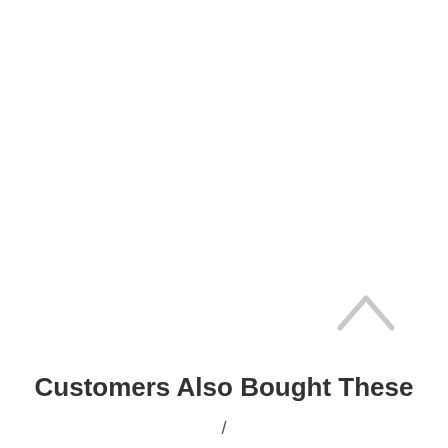[Figure (other): A light gray upward-pointing chevron/arrow icon positioned in the upper-right area of the lower half of the page, indicating a scroll-up or collapse action.]
Customers Also Bought These
/